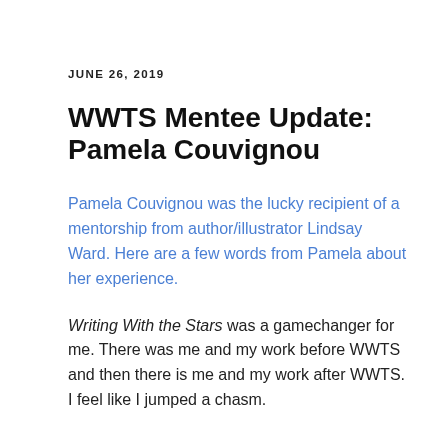JUNE 26, 2019
WWTS Mentee Update: Pamela Couvignou
Pamela Couvignou was the lucky recipient of a mentorship from author/illustrator Lindsay Ward. Here are a few words from Pamela about her experience.
Writing With the Stars was a gamechanger for me. There was me and my work before WWTS and then there is me and my work after WWTS. I feel like I jumped a chasm.